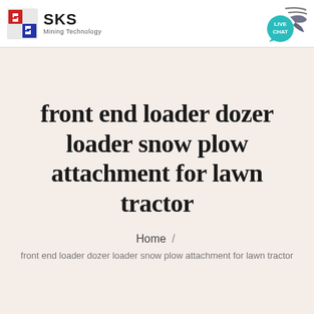[Figure (logo): SKS Mining Technology logo with red and blue 'S' icon on left and text 'SKS Mining Technology' on right]
[Figure (other): Live Chat button with teal speech bubble icon and dark blue swoosh lines]
front end loader dozer loader snow plow attachment for lawn tractor
Home / front end loader dozer loader snow plow attachment for lawn tractor